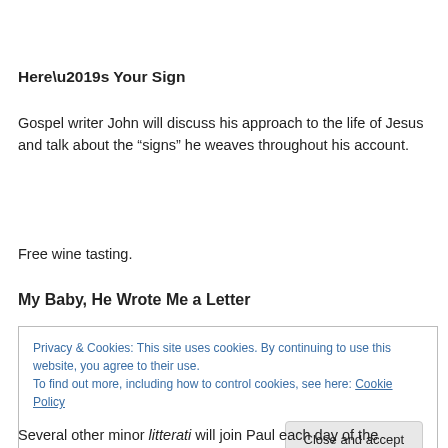Here’s Your Sign
Gospel writer John will discuss his approach to the life of Jesus and talk about the “signs” he weaves throughout his account.
Free wine tasting.
My Baby, He Wrote Me a Letter
Privacy & Cookies: This site uses cookies. By continuing to use this website, you agree to their use.
To find out more, including how to control cookies, see here: Cookie Policy
[Close and accept]
Several other minor litterati will join Paul each day of the